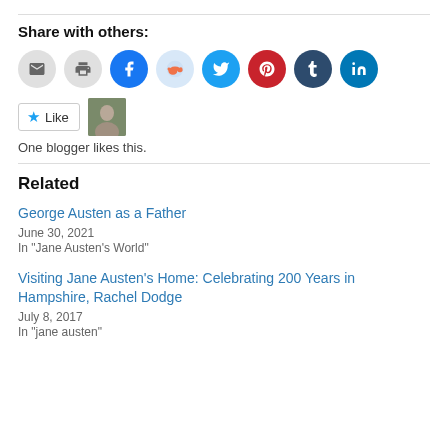Share with others:
[Figure (infographic): Row of social sharing icon buttons: email (grey), print (grey), Facebook (blue), Reddit (light blue), Twitter (cyan), Pinterest (red), Tumblr (dark navy), LinkedIn (teal)]
[Figure (infographic): Like button with star icon and a small blogger avatar photo. Text below: One blogger likes this.]
One blogger likes this.
Related
George Austen as a Father
June 30, 2021
In "Jane Austen's World"
Visiting Jane Austen's Home: Celebrating 200 Years in Hampshire, Rachel Dodge
July 8, 2017
In "jane austen"